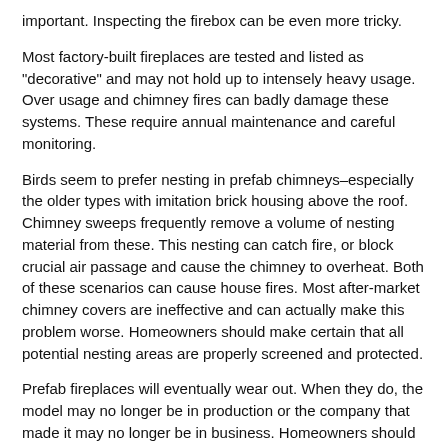important. Inspecting the firebox can be even more tricky.
Most factory-built fireplaces are tested and listed as "decorative" and may not hold up to intensely heavy usage. Over usage and chimney fires can badly damage these systems. These require annual maintenance and careful monitoring.
Birds seem to prefer nesting in prefab chimneys–especially the older types with imitation brick housing above the roof. Chimney sweeps frequently remove a volume of nesting material from these. This nesting can catch fire, or block crucial air passage and cause the chimney to overheat. Both of these scenarios can cause house fires. Most after-market chimney covers are ineffective and can actually make this problem worse. Homeowners should make certain that all potential nesting areas are properly screened and protected.
Prefab fireplaces will eventually wear out. When they do, the model may no longer be in production or the company that made it may no longer be in business. Homeowners should keep a close eye on these systems and prepare to swap them out before they give out completely.
If you [Join Our Newsletter! button] g the care of your masonry or prefab f... ...will be glad to assist.